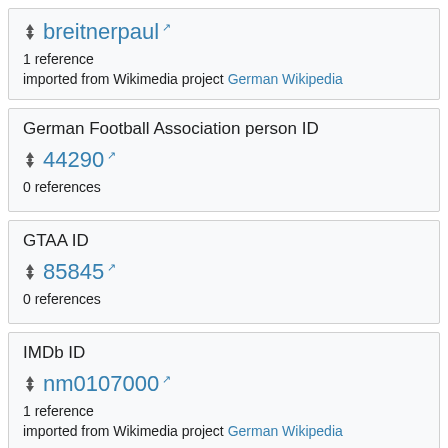breitnerpaul — 1 reference — imported from Wikimedia project German Wikipedia
German Football Association person ID
44290 — 0 references
GTAA ID
85845 — 0 references
IMDb ID
nm0107000 — 1 reference — imported from Wikimedia project German Wikipedia